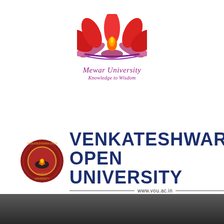[Figure (logo): Mewar University logo with lotus flower in red/pink, flame in center, purple base, with italic text 'Mewar University' and tagline 'Knowledge to Wisdom']
[Figure (logo): Venkateshwara Open University logo with circular red emblem on left and bold dark blue text 'VENKATESHWARA OPEN UNIVERSITY' with website www.vou.ac.in below]